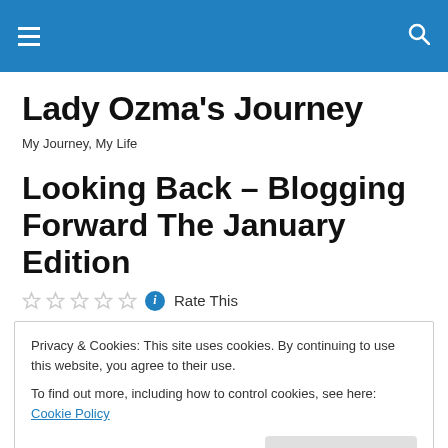Navigation bar with hamburger menu and search icon
Lady Ozma's Journey
My Journey, My Life
Looking Back – Blogging Forward The January Edition
Rate This
Privacy & Cookies: This site uses cookies. By continuing to use this website, you agree to their use.
To find out more, including how to control cookies, see here: Cookie Policy
Close and accept